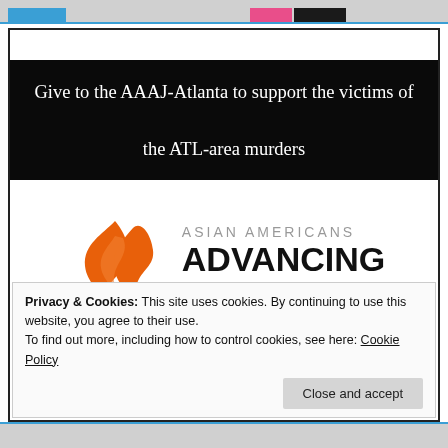[Figure (screenshot): Top navigation bar of a website with blue, pink, and dark colored accent blocks]
Give to the AAAJ-Atlanta to support the victims of the ATL-area murders
[Figure (logo): Asian Americans Advancing Justice - Atlanta logo with orange flame graphic]
Privacy & Cookies: This site uses cookies. By continuing to use this website, you agree to their use. To find out more, including how to control cookies, see here: Cookie Policy